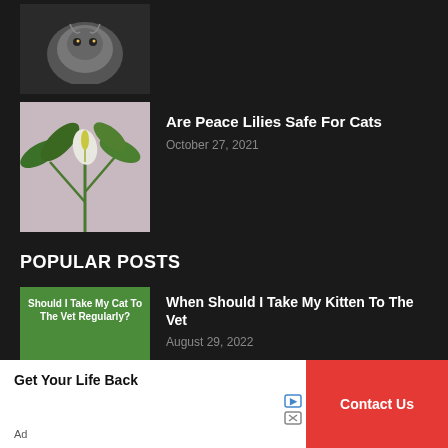[Figure (photo): Partial view of a cat thumbnail at the top of the page (cropped)]
[Figure (photo): Peace lily plant with white flower and green leaves]
Are Peace Lilies Safe For Cats
October 27, 2021
POPULAR POSTS
[Figure (photo): Image with green background and text: Should I Take My Cat To The Vet Regularly? with a white cat photo]
When Should I Take My Kitten To The Vet
August 29, 2022
[Figure (photo): Gargamel cartoon villain character illustration on light background]
What Was Gargamel's Cat's Name
August 27, 2021
Get Your Life Back
Contact Us
Ad